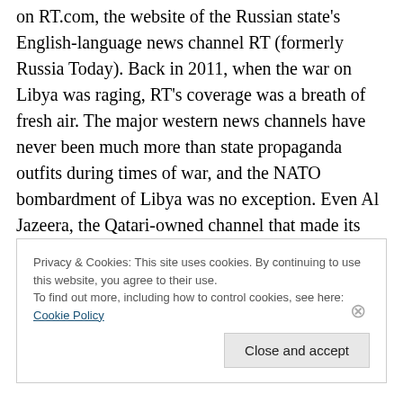on RT.com, the website of the Russian state's English-language news channel RT (formerly Russia Today). Back in 2011, when the war on Libya was raging, RT's coverage was a breath of fresh air. The major western news channels have never been much more than state propaganda outfits during times of war, and the NATO bombardment of Libya was no exception. Even Al Jazeera, the Qatari-owned channel that made its name with its no-holds barred coverage of the 2003 attack on Iraq, had seemingly cashed in its hard-won credibility as a voice speaking truth to power to become an unashamed
Privacy & Cookies: This site uses cookies. By continuing to use this website, you agree to their use.
To find out more, including how to control cookies, see here: Cookie Policy
Close and accept